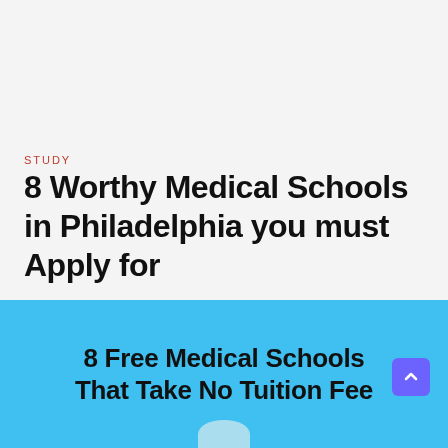STUDY
8 Worthy Medical Schools in Philadelphia you must Apply for
July 18, 2022
[Figure (illustration): Blue banner image with text '8 Free Medical Schools That Take No Tuition Fee' and a person illustration at the bottom, with a purple scroll-to-top button on the right]